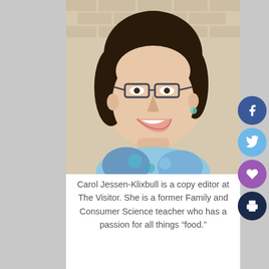[Figure (photo): Headshot photo of Carol Jessen-Klixbull, a woman with dark hair, glasses, smiling, wearing a blue floral top, in front of a brick wall background.]
Carol Jessen-Klixbull is a copy editor at The Visitor. She is a former Family and Consumer Science teacher who has a passion for all things “food.”